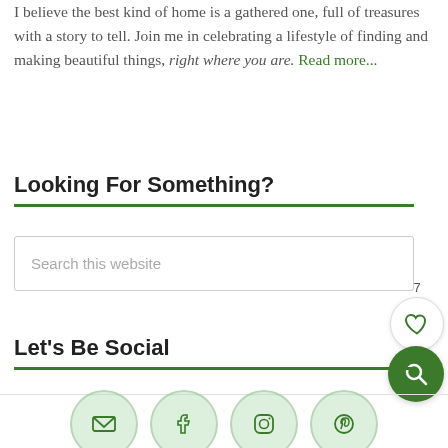I believe the best kind of home is a gathered one, full of treasures with a story to tell. Join me in celebrating a lifestyle of finding and making beautiful things, right where you are. Read more...
Looking For Something?
[Figure (screenshot): Search input box with placeholder text 'Search this website']
Let's Be Social
[Figure (infographic): Four circular green social media icons: email, Facebook, Instagram, Pinterest]